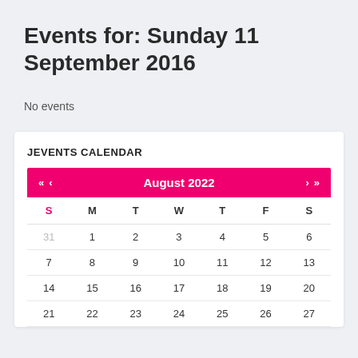Events for: Sunday 11 September 2016
No events
JEVENTS CALENDAR
| S | M | T | W | T | F | S |
| --- | --- | --- | --- | --- | --- | --- |
| 31 | 1 | 2 | 3 | 4 | 5 | 6 |
| 7 | 8 | 9 | 10 | 11 | 12 | 13 |
| 14 | 15 | 16 | 17 | 18 | 19 | 20 |
| 21 | 22 | 23 | 24 | 25 | 26 | 27 |